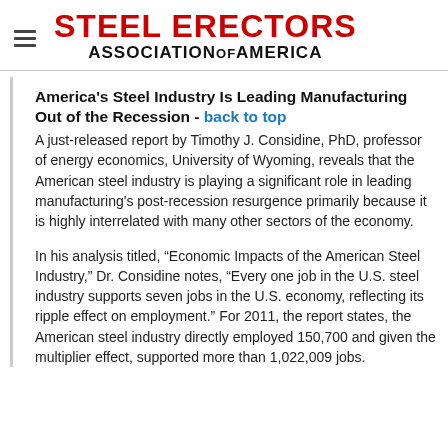Steel Erectors Association of America
America's Steel Industry Is Leading Manufacturing Out of the Recession - back to top
A just-released report by Timothy J. Considine, PhD, professor of energy economics, University of Wyoming, reveals that the American steel industry is playing a significant role in leading manufacturing's post-recession resurgence primarily because it is highly interrelated with many other sectors of the economy.
In his analysis titled, “Economic Impacts of the American Steel Industry,” Dr. Considine notes, “Every one job in the U.S. steel industry supports seven jobs in the U.S. economy, reflecting its ripple effect on employment.” For 2011, the report states, the American steel industry directly employed 150,700 and given the multiplier effect, supported more than 1,022,009 jobs.